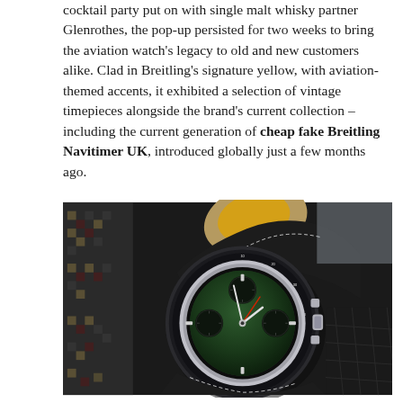cocktail party put on with single malt whisky partner Glenrothes, the pop-up persisted for two weeks to bring the aviation watch's legacy to old and new customers alike. Clad in Breitling's signature yellow, with aviation-themed accents, it exhibited a selection of vintage timepieces alongside the brand's current collection – including the current generation of cheap fake Breitling Navitimer UK, introduced globally just a few months ago.
[Figure (photo): A Breitling Navitimer watch with a green dial and black leather strap with yellow lining, placed on a dark leather surface with a houndstooth-pattern fabric visible in the background.]